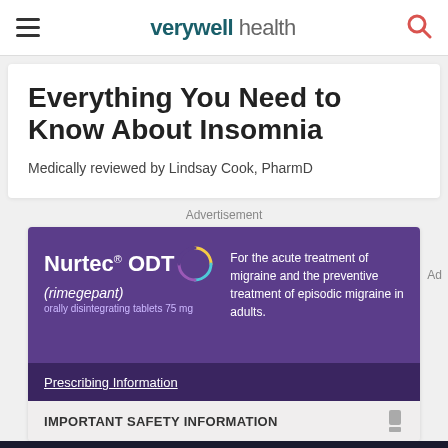verywell health
Everything You Need to Know About Insomnia
Medically reviewed by Lindsay Cook, PharmD
Advertisement
[Figure (advertisement): Nurtec ODT (rimegepant) orally disintegrating tablets 75mg pharmaceutical advertisement on purple background. Text: For the acute treatment of migraine and the preventive treatment of episodic migraine in adults. Prescribing Information. IMPORTANT SAFETY INFORMATION.]
[Figure (advertisement): LegalZoom banner ad: Make an official plan to help protect your family's future. Start Now button.]